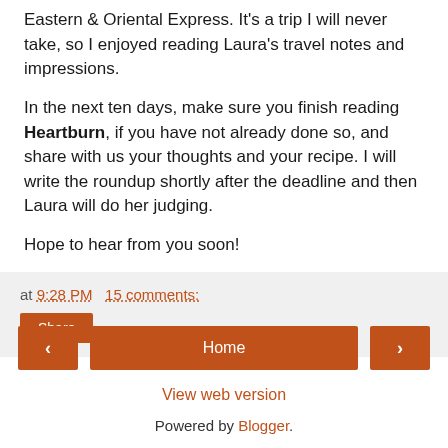Eastern & Oriental Express. It's a trip I will never take, so I enjoyed reading Laura's travel notes and impressions.
In the next ten days, make sure you finish reading Heartburn, if you have not already done so, and share with us your thoughts and your recipe. I will write the roundup shortly after the deadline and then Laura will do her judging.
Hope to hear from you soon!
at 9:28 PM   15 comments:
Share
‹   Home   ›
View web version
Powered by Blogger.